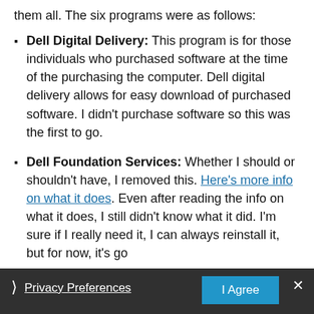them all. The six programs were as follows:
Dell Digital Delivery: This program is for those individuals who purchased software at the time of the purchasing the computer. Dell digital delivery allows for easy download of purchased software. I didn't purchase software so this was the first to go.
Dell Foundation Services: Whether I should or shouldn't have, I removed this. Here's more info on what it does. Even after reading the info on what it does, I still didn't know what it did. I'm sure if I really need it, I can always reinstall it, but for now, it's go...
Privacy Preferences — I Agree (cookie overlay)